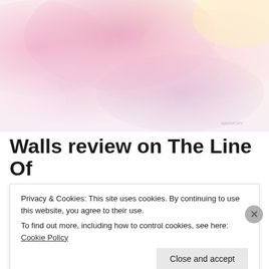[Figure (illustration): Pastel pink and lavender watercolor clouds on a light background, with a small watermark in the bottom right corner.]
Walls review on The Line Of Best Fit (Posted by Harry)
Privacy & Cookies: This site uses cookies. By continuing to use this website, you agree to their use.
To find out more, including how to control cookies, see here: Cookie Policy
Close and accept